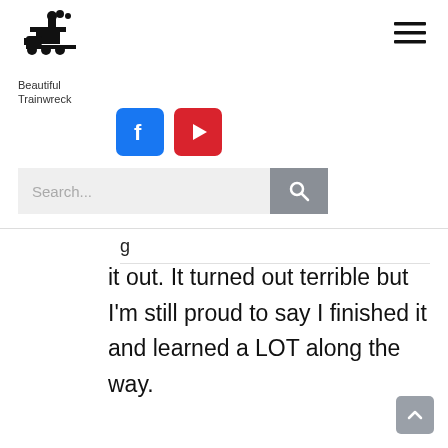[Figure (logo): Train locomotive icon with steam in black, above text 'Beautiful Trainwreck']
[Figure (illustration): Hamburger menu icon (three horizontal lines) in top right corner]
[Figure (illustration): Facebook and YouTube social media icon buttons (blue and red square icons)]
[Figure (screenshot): Search bar with placeholder text 'Search...' and a gray search button with magnifying glass icon]
g
it out. It turned out terrible but I'm still proud to say I finished it and learned a LOT along the way.
[Figure (illustration): Back to top button (gray square with upward chevron arrow) in bottom right corner]